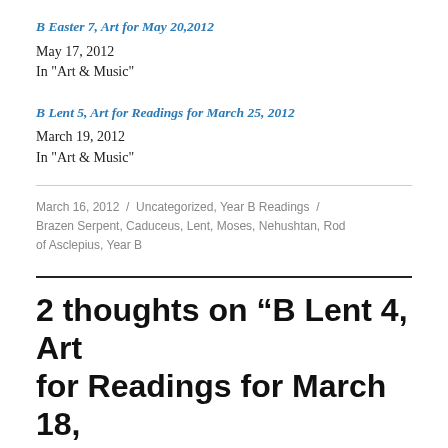B Easter 7, Art for May 20,2012
May 17, 2012
In "Art & Music"
B Lent 5, Art for Readings for March 25, 2012
March 19, 2012
In "Art & Music"
March 16, 2012 / Uncategorized, Year B Readings / Brazen Serpent, Caduceus, Lent, Moses, Nehushtan, Rod of Asclepius, Year B
2 thoughts on “B Lent 4, Art for Readings for March 18,